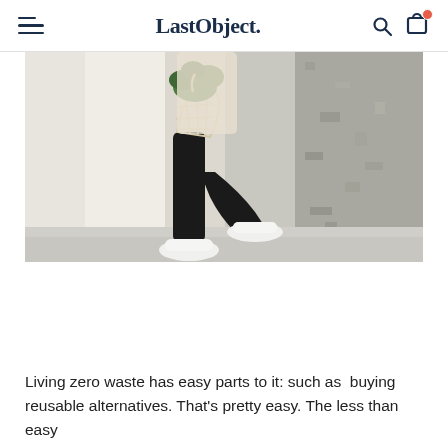LastObject.
[Figure (photo): Person walking wearing black pants and white sneakers, carrying a mesh/net bag with green plant/groceries, against a backdrop of white fabric and a grey textured wall.]
Living zero waste has easy parts to it: such as buying reusable alternatives. That's pretty easy. The less than easy